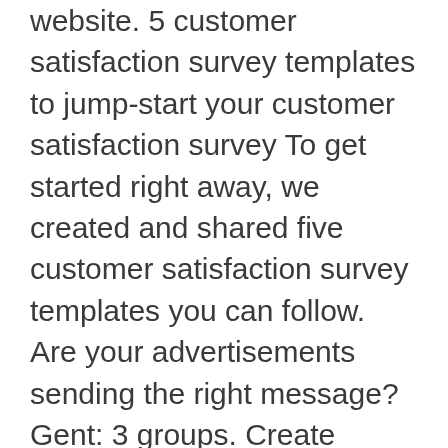website. 5 customer satisfaction survey templates to jump-start your customer satisfaction survey To get started right away, we created and shared five customer satisfaction survey templates you can follow. Are your advertisements sending the right message? Gent: 3 groups. Create online polls, distribute them using email and multiple other options and start analyzing poll results. All rights reserved. Feel free to change and edit any of our survey templates to help you get started. We hope this will help you create your own Television Advertisement Evaluation survey. Create and launch smart mobile surveys! This sample survey template can be customized to suit the needs of your own business, click